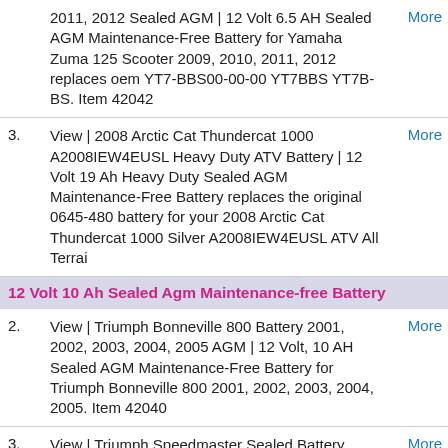View | 2011, 2012 Sealed AGM | 12 Volt 6.5 AH Sealed AGM Maintenance-Free Battery for Yamaha Zuma 125 Scooter 2009, 2010, 2011, 2012 replaces oem YT7-BBS00-00-00 YT7BBS YT7B-BS. Item 42042
3. View | 2008 Arctic Cat Thundercat 1000 A2008IEW4EUSL Heavy Duty ATV Battery | 12 Volt 19 Ah Heavy Duty Sealed AGM Maintenance-Free Battery replaces the original 0645-480 battery for your 2008 Arctic Cat Thundercat 1000 Silver A2008IEW4EUSL ATV All Terrai
12 Volt 10 Ah Sealed Agm Maintenance-free Battery
2. View | Triumph Bonneville 800 Battery 2001, 2002, 2003, 2004, 2005 AGM | 12 Volt, 10 AH Sealed AGM Maintenance-Free Battery for Triumph Bonneville 800 2001, 2002, 2003, 2004, 2005. Item 42040
3. View | Triumph Speedmaster Sealed Battery 2003, 2004, 2005 | 12 Volt, 10 AH Sealed AGM Maintenance-Free Battery for Triumph Speedmaste 2003, 2004, 2005. item 42040
4. View | 2009 Arctic Cat 300 DVX A2009KSF2BUSE Sealed ATV Battery | 12 Volt 10 ah Sealed AGM